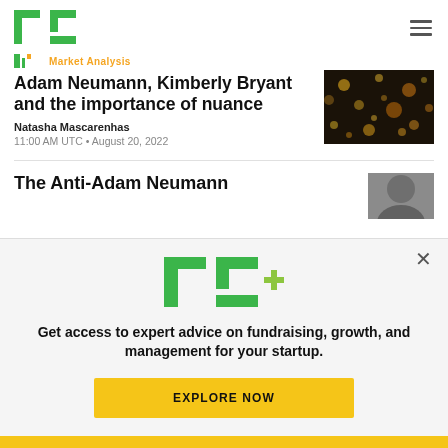TechCrunch
Market Analysis
Adam Neumann, Kimberly Bryant and the importance of nuance
Natasha Mascarenhas
11:00 AM UTC • August 20, 2022
[Figure (photo): Gold sparkles/lights bokeh background image]
The Anti-Adam Neumann
[Figure (photo): Black and white close-up portrait photo thumbnail]
[Figure (logo): TC+ logo in green with plus sign in yellow-green]
Get access to expert advice on fundraising, growth, and management for your startup.
EXPLORE NOW